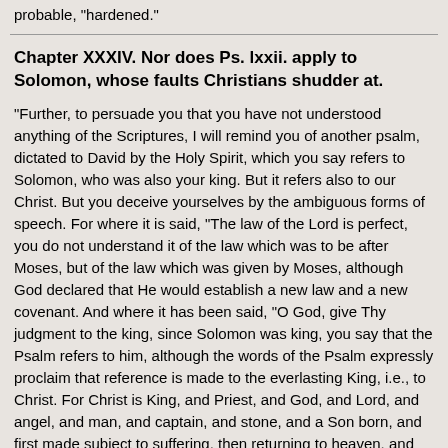probable, "hardened."
Chapter XXXIV. Nor does Ps. lxxii. apply to Solomon, whose faults Christians shudder at.
"Further, to persuade you that you have not understood anything of the Scriptures, I will remind you of another psalm, dictated to David by the Holy Spirit, which you say refers to Solomon, who was also your king. But it refers also to our Christ. But you deceive yourselves by the ambiguous forms of speech. For where it is said, "The law of the Lord is perfect, you do not understand it of the law which was to be after Moses, but of the law which was given by Moses, although God declared that He would establish a new law and a new covenant. And where it has been said, "O God, give Thy judgment to the king, since Solomon was king, you say that the Psalm refers to him, although the words of the Psalm expressly proclaim that reference is made to the everlasting King, i.e., to Christ. For Christ is King, and Priest, and God, and Lord, and angel, and man, and captain, and stone, and a Son born, and first made subject to suffering, then returning to heaven, and again coming with glory, and He is preached as having the everlasting kingdom: so I prove from all the Scriptures. But that you may perceive